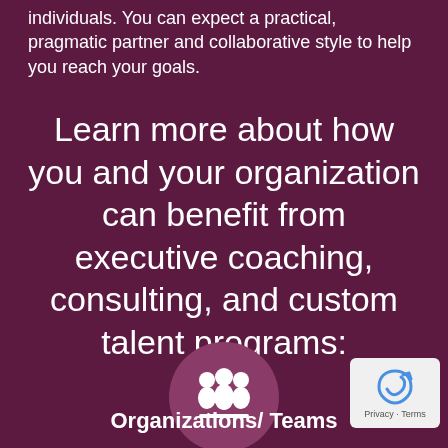individuals. You can expect a practical, pragmatic partner and collaborative style to help you reach your goals.
Learn more about how you and your organization can benefit from executive coaching, consulting, and custom talent programs:
[Figure (illustration): A circular icon with a dark pink/mauve background showing three white silhouette figures representing a group or team.]
Organizations/ Teams